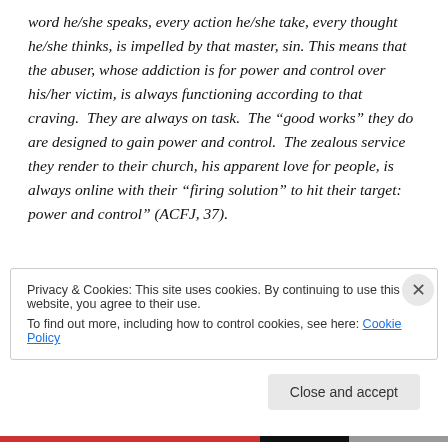word he/she speaks, every action he/she take, every thought he/she thinks, is impelled by that master, sin. This means that the abuser, whose addiction is for power and control over his/her victim, is always functioning according to that craving. They are always on task. The “good works” they do are designed to gain power and control. The zealous service they render to their church, his apparent love for people, is always online with their “firing solution” to hit their target: power and control” (ACFJ, 37).
Privacy & Cookies: This site uses cookies. By continuing to use this website, you agree to their use.
To find out more, including how to control cookies, see here: Cookie Policy